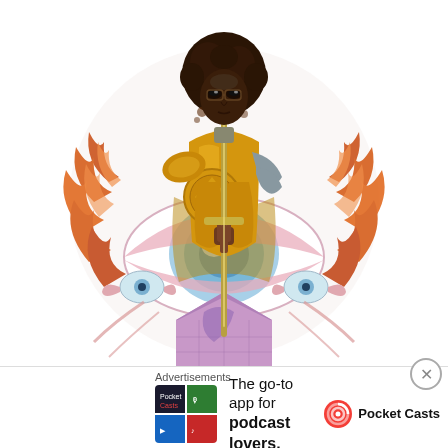[Figure (illustration): Fantasy illustration of a dark-skinned figure in golden armor holding a sword pointed downward into a large eye-like orb surrounded by fire and tentacle-like creatures on a white background]
Advertisements
[Figure (logo): Pocket Casts advertisement banner with colorful app icon tiles and text: 'The go-to app for podcast lovers.' with Pocket Casts logo]